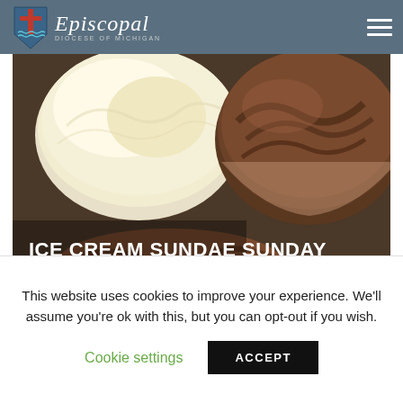Episcopal Diocese of Michigan
[Figure (photo): Close-up photo of several containers of ice cream including vanilla and chocolate flavors, with decorative packaging visible underneath]
ICE CREAM SUNDAE SUNDAY PHOTO GALLERY
This website uses cookies to improve your experience. We'll assume you're ok with this, but you can opt-out if you wish.
Cookie settings   ACCEPT